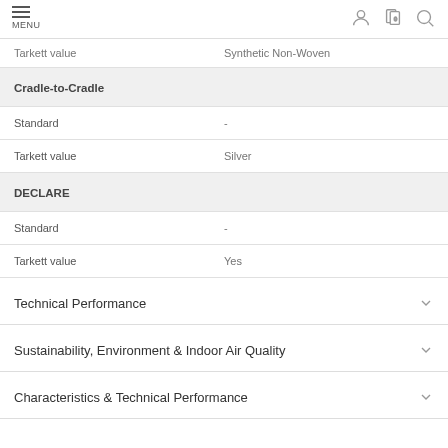MENU
| Tarkett value | Synthetic Non-Woven |
| Cradle-to-Cradle |  |
| Standard | - |
| Tarkett value | Silver |
| DECLARE |  |
| Standard | - |
| Tarkett value | Yes |
Technical Performance
Sustainability, Environment & Indoor Air Quality
Characteristics & Technical Performance